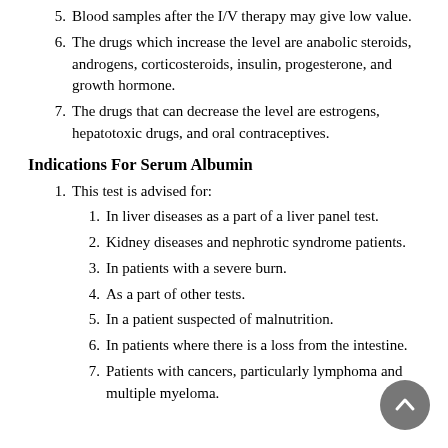5. Blood samples after the I/V therapy may give low value.
6. The drugs which increase the level are anabolic steroids, androgens, corticosteroids, insulin, progesterone, and growth hormone.
7. The drugs that can decrease the level are estrogens, hepatotoxic drugs, and oral contraceptives.
Indications For Serum Albumin
1. This test is advised for:
1. In liver diseases as a part of a liver panel test.
2. Kidney diseases and nephrotic syndrome patients.
3. In patients with a severe burn.
4. As a part of other tests.
5. In a patient suspected of malnutrition.
6. In patients where there is a loss from the intestine.
7. Patients with cancers, particularly lymphoma and multiple myeloma.